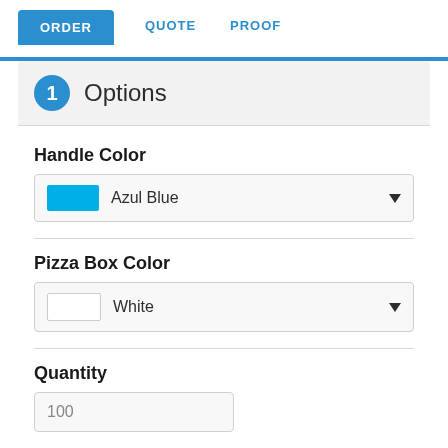ORDER   QUOTE   PROOF
1 Options
Handle Color
Azul Blue
Pizza Box Color
White
Quantity
100